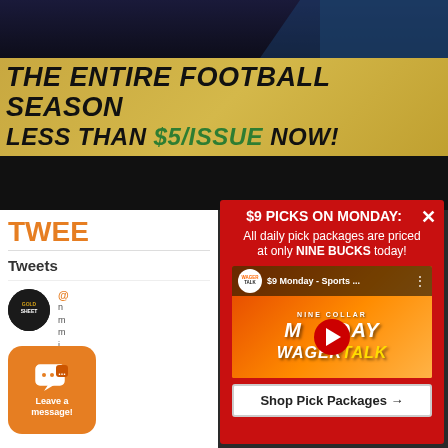[Figure (screenshot): Dark navy background at top of page, part of a sports betting website]
THE ENTIRE FOOTBALL SEASON LESS THAN $5/ISSUE NOW!
[Figure (screenshot): Dark black banner strip]
TWEETS
Tweets
[Figure (screenshot): GoldSheet Twitter avatar - black circle with GoldSheet logo]
Orange tweet text from GoldSheet
Tweet body text lines
[Figure (infographic): Orange chat widget with speech bubble icon and 'Leave a message!' text]
$9 PICKS ON MONDAY:
All daily pick packages are priced at only NINE BUCKS today!
[Figure (screenshot): YouTube video thumbnail: $9 Monday - Sports... WagerTalk video with play button]
Shop Pick Packages →